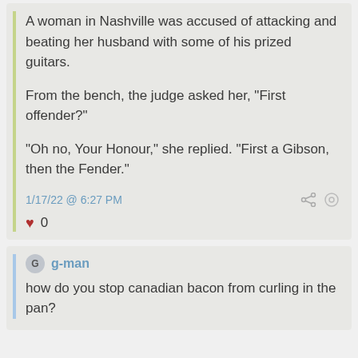A woman in Nashville was accused of attacking and beating her husband with some of his prized guitars.

From the bench, the judge asked her, “First offender?”

“Oh no, Your Honour,” she replied. “First a Gibson, then the Fender.”
1/17/22 @ 6:27 PM
0
g-man
how do you stop canadian bacon from curling in the pan?